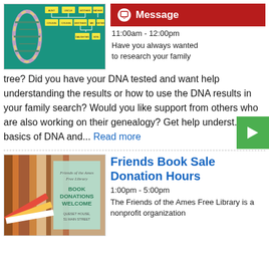[Figure (illustration): DNA family tree graphic on teal background with yellow boxes and DNA helix strand]
[Figure (other): Red Message button with chat icon]
11:00am - 12:00pm
Have you always wanted to research your family tree? Did you have your DNA tested and want help understanding the results or how to use the DNA results in your family search? Would you like support from others who are also working on their genealogy? Get help underst... the basics of DNA and... Read more
[Figure (other): Green play button]
[Figure (photo): Stack of books photo with Friends of the Ames Free Library Book Donations Welcome overlay text]
Friends Book Sale Donation Hours
1:00pm - 5:00pm
The Friends of the Ames Free Library is a nonprofit organization